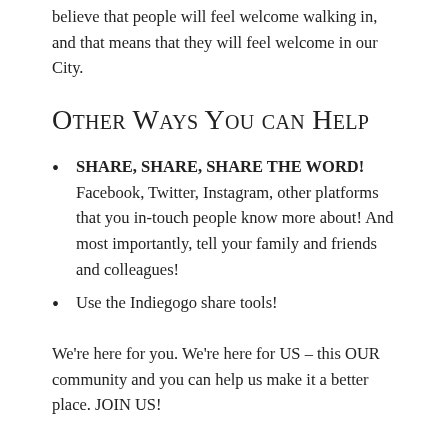believe that people will feel welcome walking in, and that means that they will feel welcome in our City.
Other Ways You can Help
SHARE, SHARE, SHARE THE WORD! Facebook, Twitter, Instagram, other platforms that you in-touch people know more about! And most importantly, tell your family and friends and colleagues!
Use the Indiegogo share tools!
We're here for you. We're here for US – this OUR community and you can help us make it a better place. JOIN US!